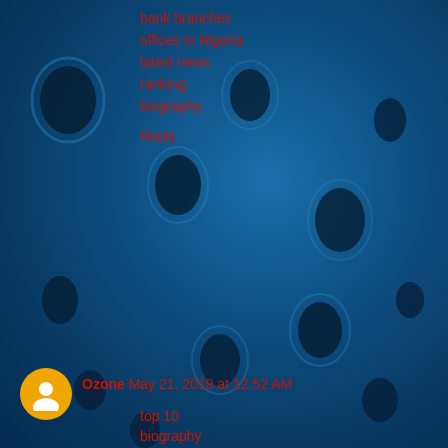[Figure (photo): Blue textured background resembling a microscopic or foam-like surface with dark oval pores/holes scattered throughout, giving a sponge or cell-like appearance in shades of blue.]
bank branches
offices in Nigeria
latest news
ranking
biography
Reply
Ozone May 21, 2019 at 12:52 AM
top 10
biography
health benefits
bank branches
offices in Nigeria
dangers of
ranks in
health
top 10
biography
health benefits
bank branches